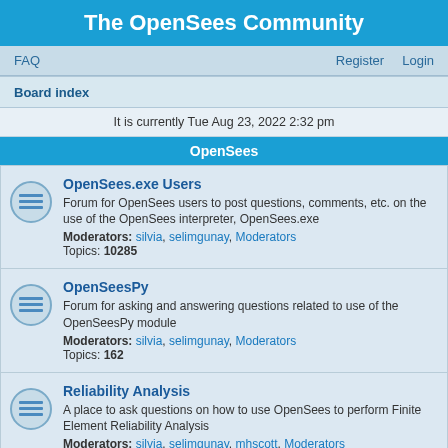The OpenSees Community
FAQ  Register  Login
Board index
It is currently Tue Aug 23, 2022 2:32 pm
OpenSees
| OpenSees.exe Users | Forum for OpenSees users to post questions, comments, etc. on the use of the OpenSees interpreter, OpenSees.exe | Moderators: silvia, selimgunay, Moderators | Topics: 10285 |
| OpenSeesPy | Forum for asking and answering questions related to use of the OpenSeesPy module | Moderators: silvia, selimgunay, Moderators | Topics: 162 |
| Reliability Analysis | A place to ask questions on how to use OpenSees to perform Finite Element Reliability Analysis | Moderators: silvia, selimgunay, mhscott, Moderators | Topics: 69 |
| Framework | For developers writing C++, Fortran, Java, code who have questions or comments to make. | Moderators: silvia, selimgunay, Moderators |  |